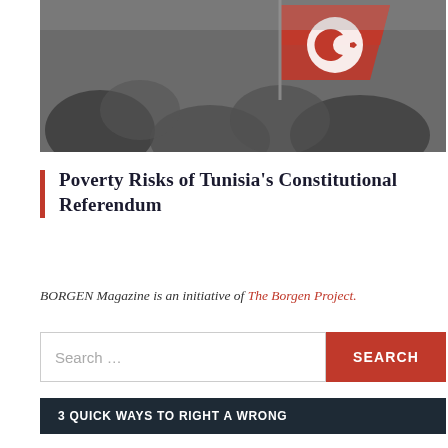[Figure (photo): Crowd scene with Tunisian flag (red and white with crescent and star) being held up]
Poverty Risks of Tunisia's Constitutional Referendum
BORGEN Magazine is an initiative of The Borgen Project.
3 QUICK WAYS TO RIGHT A WRONG
1. Email Congress